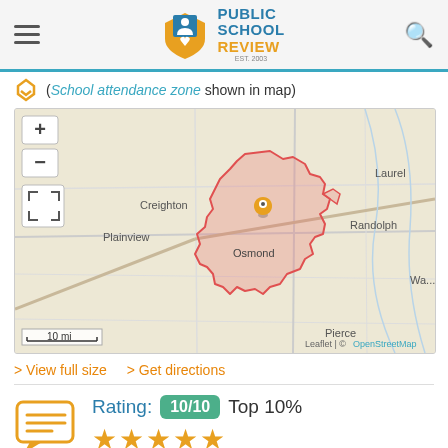Public School Review - EST. 2003
(School attendance zone shown in map)
[Figure (map): Interactive map showing school attendance zone for Osmond area in Nebraska. The zone is highlighted in pink/red outline. Nearby towns labeled include Creighton, Plainview, Osmond, Randolph, Laurel, Pierce, and Wayne. Map controls (zoom +/-) and fullscreen button visible. Scale bar shows 10 mi. Attribution: Leaflet | © OpenStreetMap]
> View full size  > Get directions
Rating: 10/10 Top 10% ★★★★★